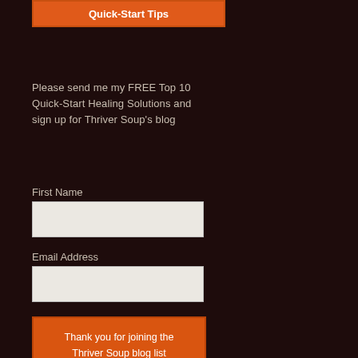Quick-Start Tips
Please send me my FREE Top 10 Quick-Start Healing Solutions and sign up for Thriver Soup's blog
First Name
Email Address
Thank you for joining the Thriver Soup blog list